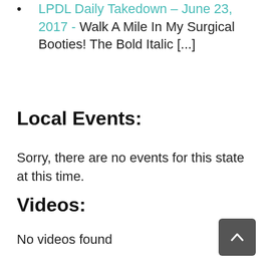LPDL Daily Takedown – June 23, 2017 - Walk A Mile In My Surgical Booties! The Bold Italic [...]
Local Events:
Sorry, there are no events for this state at this time.
Videos:
No videos found